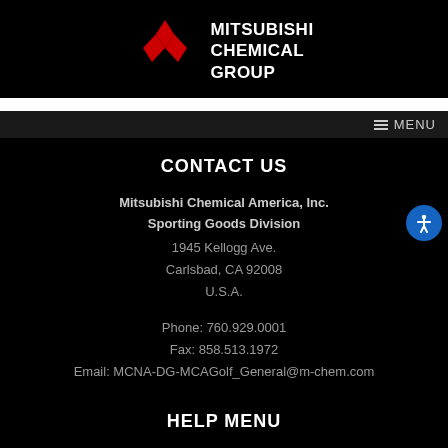[Figure (logo): Mitsubishi Chemical Group logo with red three-diamond symbol and white text]
≡ MENU
CONTACT US
Mitsubishi Chemical America, Inc.
Sporting Goods Division
1945 Kellogg Ave.
Carlsbad, CA 92008
U.S.A.
Phone: 760.929.0001
Fax: 858.513.1972
Email: MCNA-DG-MCAGolf_General@m-chem.com
HELP MENU